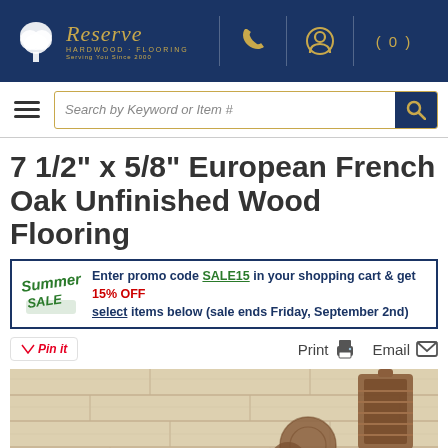[Figure (logo): Reserve Hardwood Flooring logo with tree icon and gold text on dark blue header background, with phone, user, and cart icons]
[Figure (screenshot): Search bar with hamburger menu icon, search field reading 'Search by Keyword or Item #', and dark blue search button with magnifying glass]
7 1/2" x 5/8" European French Oak Unfinished Wood Flooring
Enter promo code SALE15 in your shopping cart & get 15% OFF select items below (sale ends Friday, September 2nd)
[Figure (illustration): Summer Sale logo in green graffiti-style text]
Pin it   Print   Email
[Figure (photo): Photo of light-colored European French Oak unfinished wood flooring planks with a wooden lantern and decorative wicker balls]